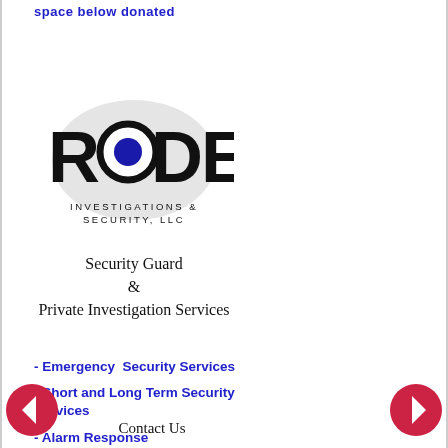space below donated
[Figure (logo): RODE Investigations & Security, LLC logo with circular eye graphic]
Security Guard
&
Private Investigation Services
- Emergency Security Services
- Short and Long Term Security Services
- Alarm Response
- Customized Services
Contact Us